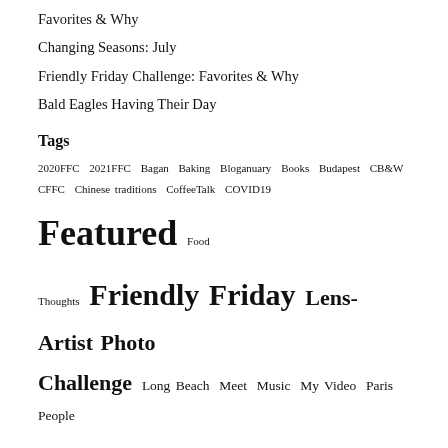Favorites & Why
Changing Seasons: July
Friendly Friday Challenge: Favorites & Why
Bald Eagles Having Their Day
Tags
2020FFC 2021FFC Bagan Baking Bloganuary Books Budapest CB&W CFFC Chinese traditions CoffeeTalk COVID19 Featured Food Thoughts Friendly Friday Lens-Artist Photo Challenge Long Beach Meet Music My Video Paris People Photo Challenge Photography Picture a Beach Seoul Singapore street photography Surfers Tofino Tokyo Toronto Ucluelet Vancouver Island weekendcoffeeshare Wick Beach Wordless Wednesday Wordpress Writing Prompt Youtube